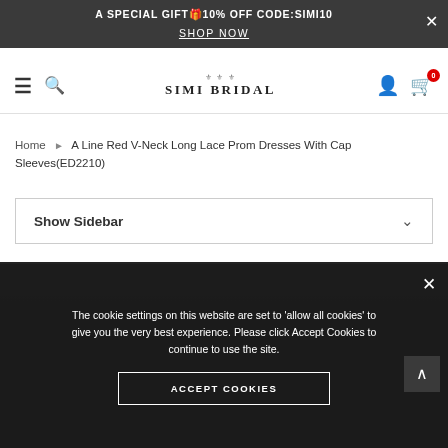A SPECIAL GIFT🎁10% OFF CODE:SIMI10 SHOP NOW
[Figure (logo): SIMI BRIDAL logo with decorative flourish]
Home ▶ A Line Red V-Neck Long Lace Prom Dresses With Cap Sleeves(ED2210)
Show Sidebar
[Figure (photo): Dark background showing product area for red prom dress]
The cookie settings on this website are set to 'allow all cookies' to give you the very best experience. Please click Accept Cookies to continue to use the site. ACCEPT COOKIES